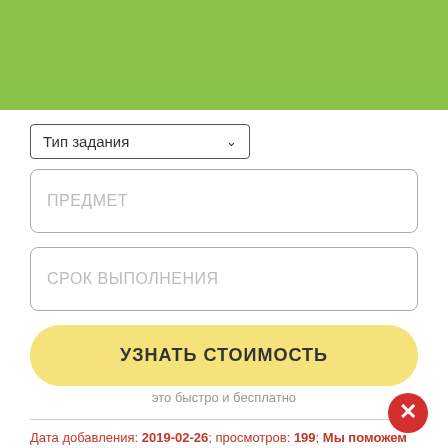[Figure (screenshot): Green header banner at top of page]
Тип задания
ПРЕДМЕТ
СРОК ВЫПОЛНЕНИЯ
УЗНАТЬ СТОИМОСТЬ
это быстро и бесплатно
Дата добавления: 2019-02-26; просмотров: 199; Мы поможем в написании вашей работы!